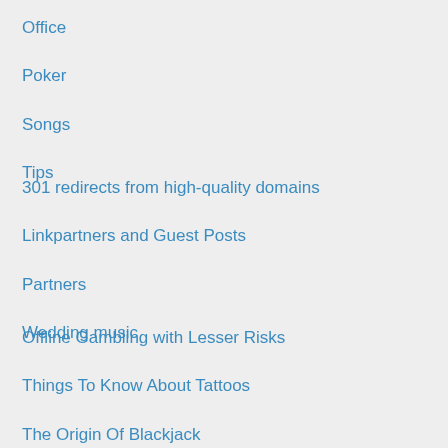Office
Poker
Songs
Tips
301 redirects from high-quality domains
Linkpartners and Guest Posts
Partners
Wedding music
Offline Gambling with Lesser Risks
Things To Know About Tattoos
The Origin Of Blackjack
Lasting Antique Art